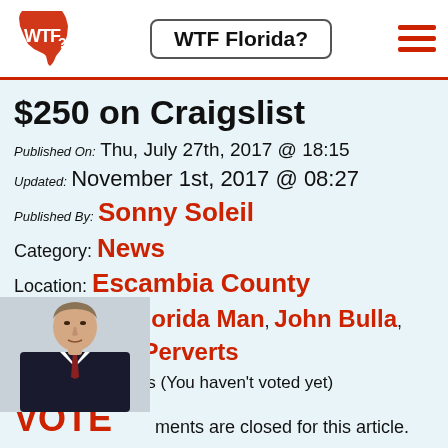WTF Florida?
$250 on Craigslist
Published On: Thu, July 27th, 2017 @ 18:15
Updated: November 1st, 2017 @ 08:27
Published By: Sonny Soleil
Category: News
Location: Escambia County
4 Florida Tags: Florida Man, John Bulla, Pensacola, Perverts
63 FloridApprovals (You haven't voted yet) VOTE NOW
Total Florida Points
[Figure (photo): Man in suit, partially visible at bottom left]
ments are closed for this article.